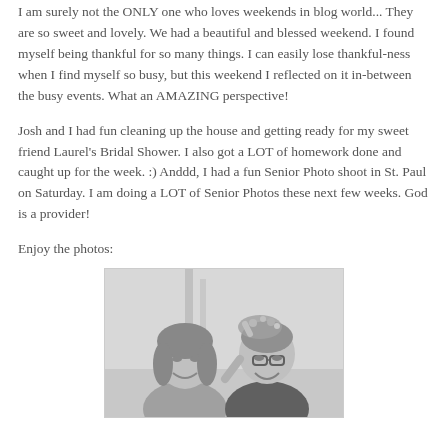I am surely not the ONLY one who loves weekends in blog world... They are so sweet and lovely. We had a beautiful and blessed weekend. I found myself being thankful for so many things. I can easily lose thankful-ness when I find myself so busy, but this weekend I reflected on it in-between the busy events. What an AMAZING perspective!
Josh and I had fun cleaning up the house and getting ready for my sweet friend Laurel's Bridal Shower. I also got a LOT of homework done and caught up for the week. :) Anddd, I had a fun Senior Photo shoot in St. Paul on Saturday. I am doing a LOT of Senior Photos these next few weeks. God is a provider!
Enjoy the photos:
[Figure (photo): Black and white photo of two women laughing together, one wearing a decorative headpiece/crown]